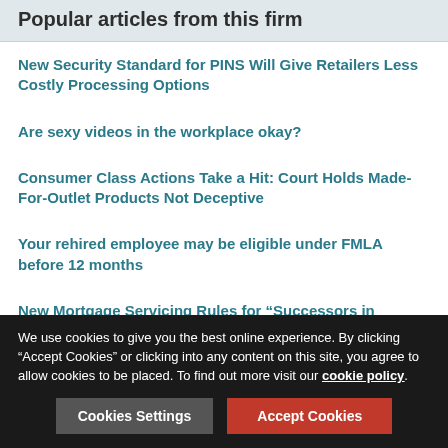Popular articles from this firm
New Security Standard for PINS Will Give Retailers Less Costly Processing Options
Are sexy videos in the workplace okay?
Consumer Class Actions Take a Hit: Court Holds Made-For-Outlet Products Not Deceptive
Your rehired employee may be eligible under FMLA before 12 months
New Mortgage Servicing Rules for “Successors in Interest”
If you would like to learn how Lexology can drive your content marketing strategy forward, please email enquiries@lexology.com.
We use cookies to give you the best online experience. By clicking “Accept Cookies” or clicking into any content on this site, you agree to allow cookies to be placed. To find out more visit our cookie policy.